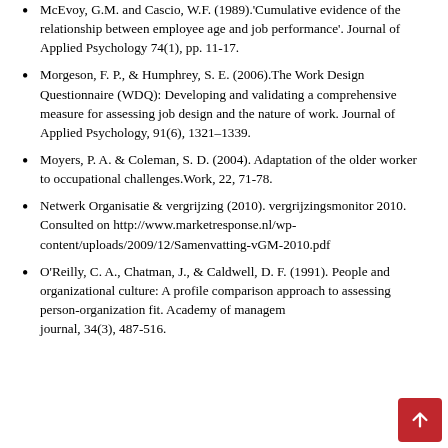McEvoy, G.M. and Cascio, W.F. (1989).'Cumulative evidence of the relationship between employee age and job performance'. Journal of Applied Psychology 74(1), pp. 11-17.
Morgeson, F. P., & Humphrey, S. E. (2006).The Work Design Questionnaire (WDQ): Developing and validating a comprehensive measure for assessing job design and the nature of work. Journal of Applied Psychology, 91(6), 1321–1339.
Moyers, P. A. & Coleman, S. D. (2004). Adaptation of the older worker to occupational challenges.Work, 22, 71-78.
Netwerk Organisatie & vergrijzing (2010). vergrijzingsmonitor 2010. Consulted on http://www.marketresponse.nl/wp-content/uploads/2009/12/Samenvatting-vGM-2010.pdf
O'Reilly, C. A., Chatman, J., & Caldwell, D. F. (1991). People and organizational culture: A profile comparison approach to assessing person-organization fit. Academy of management journal, 34(3), 487-516.